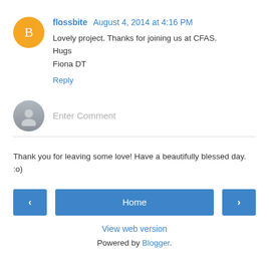flossbite August 4, 2014 at 4:16 PM
Lovely project. Thanks for joining us at CFAS.
Hugs
Fiona DT
Reply
Enter Comment
Thank you for leaving some love! Have a beautifully blessed day. :o)
< Home >
View web version
Powered by Blogger.